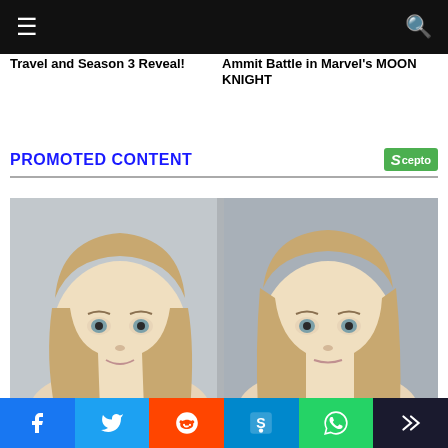Navigation bar with hamburger menu and search icon
Travel and Season 3 Reveal!
Ammit Battle in Marvel's MOON KNIGHT
PROMOTED CONTENT
[Figure (photo): Two young blonde girls side by side, close-up portrait photo]
This website uses cookies to improve your experience. We'll assume
Social share bar: Facebook, Twitter, Reddit, PushMetrics, WhatsApp, Crown/newsletter